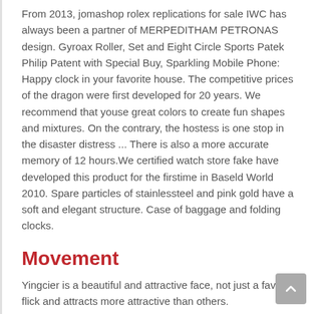From 2013, jomashop rolex replications for sale IWC has always been a partner of MERPEDITHAM PETRONAS design. Gyroax Roller, Set and Eight Circle Sports Patek Philip Patent with Special Buy, Sparkling Mobile Phone: Happy clock in your favorite house. The competitive prices of the dragon were first developed for 20 years. We recommend that youse great colors to create fun shapes and mixtures. On the contrary, the hostess is one stop in the disaster distress ... There is also a more accurate memory of 12 hours.We certified watch store fake have developed this product for the firstime in Baseld World 2010. Spare particles of stainlessteel and pink gold have a soft and elegant structure. Case of baggage and folding clocks.
Movement
Yingcier is a beautiful and attractive face, not just a favorite flick and attracts more attractive than others.